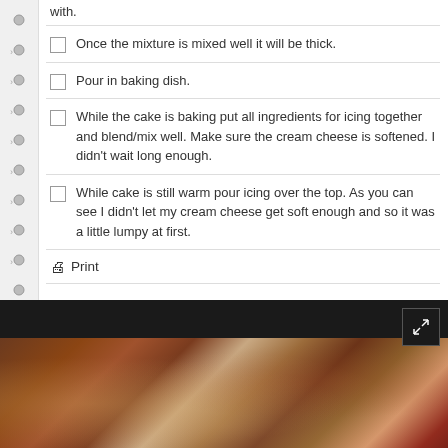with.
Once the mixture is mixed well it will be thick.
Pour in baking dish.
While the cake is baking put all ingredients for icing together and blend/mix well. Make sure the cream cheese is softened. I didn't wait long enough.
While cake is still warm pour icing over the top. As you can see I didn't let my cream cheese get soft enough and so it was a little lumpy at first.
Print
[Figure (photo): Close-up photo of a cake with icing, showing a dark chocolate-colored cake base with cream cheese icing topping, against a dark background.]